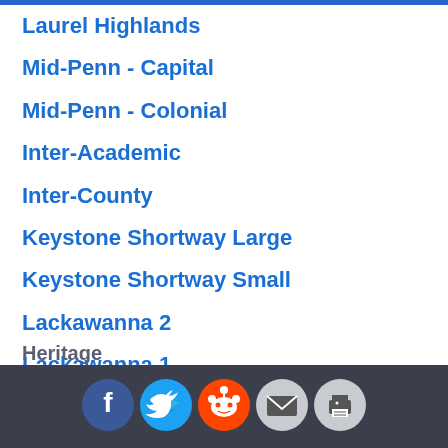Laurel Highlands
Mid-Penn - Capital
Mid-Penn - Colonial
Inter-Academic
Inter-County
Keystone Shortway Large
Keystone Shortway Small
Lackawanna 2
Lackawanna 1
Heartland I
Heartland II
Heartland III
Heritage
[Figure (other): Social sharing icons: Facebook, Twitter, Reddit, Email, Print]